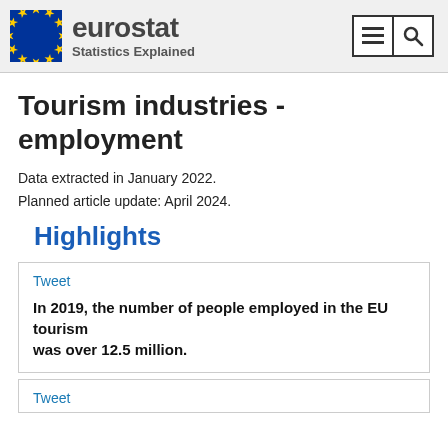eurostat Statistics Explained
Tourism industries - employment
Data extracted in January 2022.
Planned article update: April 2024.
Highlights
Tweet
In 2019, the number of people employed in the EU tourism was over 12.5 million.
Tweet